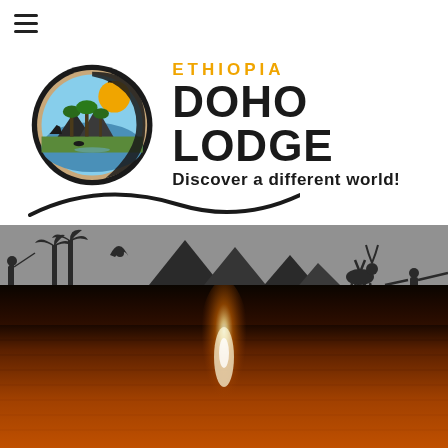[Figure (logo): Hamburger menu icon (three horizontal bars) in top-left corner]
[Figure (logo): Ethiopia Doho Lodge logo: circular emblem with palm trees, mountains, water, and wildlife, accompanied by text 'ETHIOPIA DOHO LODGE Discover a different world!']
[Figure (illustration): Dark silhouette panoramic strip showing African wildlife scene: fishing person in boat, palm trees, mountains, antelope/kudu, and person rowing a boat]
[Figure (photo): Sunset reflection on calm water — dark sky at top, warm orange-amber water with bright white-orange sunlight reflection streak in center]